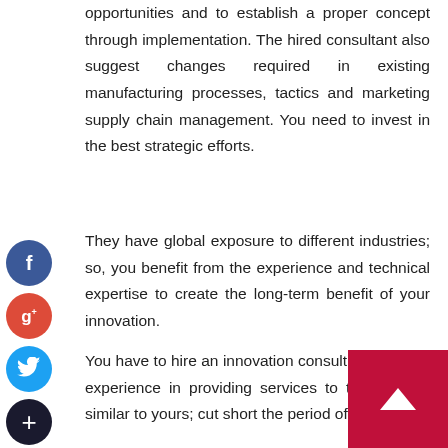opportunities and to establish a proper concept through implementation. The hired consultant also suggest changes required in existing manufacturing processes, tactics and marketing supply chain management. You need to invest in the best strategic efforts.
They have global exposure to different industries; so, you benefit from the experience and technical expertise to create the long-term benefit of your innovation.
You have to hire an innovation consulting firm with experience in providing services to the industry similar to yours; cut short the period of initiation